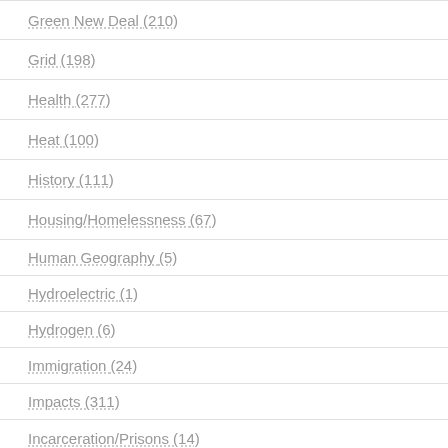Green New Deal (210)
Grid (198)
Health (277)
Heat (100)
History (111)
Housing/Homelessness (67)
Human Geography (5)
Hydroelectric (1)
Hydrogen (6)
Immigration (24)
Impacts (311)
Incarceration/Prisons (14)